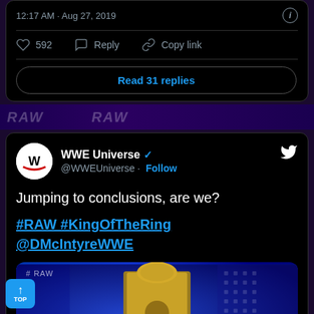12:17 AM · Aug 27, 2019
592  Reply  Copy link
Read 31 replies
[Figure (screenshot): Banner strip with RAW branding in dark purple background]
WWE Universe @WWEUniverse · Follow
Jumping to conclusions, are we?

#RAW #KingOfTheRing
@DMcIntyreWWE
[Figure (photo): Photo of a wrestler sitting on a golden throne/chair on a WWE RAW stage with blue lighting]